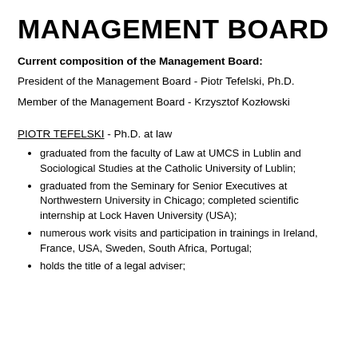MANAGEMENT BOARD
Current composition of the Management Board:
President of the Management Board - Piotr Tefelski, Ph.D.
Member of the Management Board - Krzysztof Kozłowski
PIOTR TEFELSKI - Ph.D. at law
graduated from the faculty of Law at UMCS in Lublin and Sociological Studies at the Catholic University of Lublin;
graduated from the Seminary for Senior Executives at Northwestern University in Chicago; completed scientific internship at Lock Haven University (USA);
numerous work visits and participation in trainings in Ireland, France, USA, Sweden, South Africa, Portugal;
holds the title of a legal adviser;